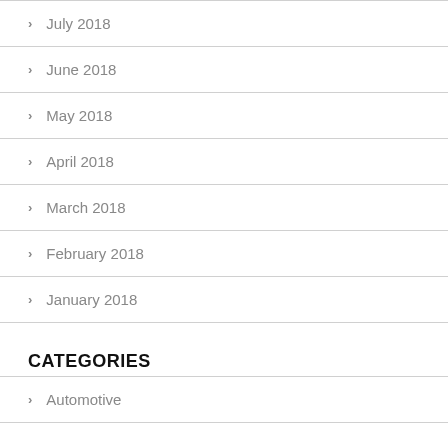July 2018
June 2018
May 2018
April 2018
March 2018
February 2018
January 2018
CATEGORIES
Automotive